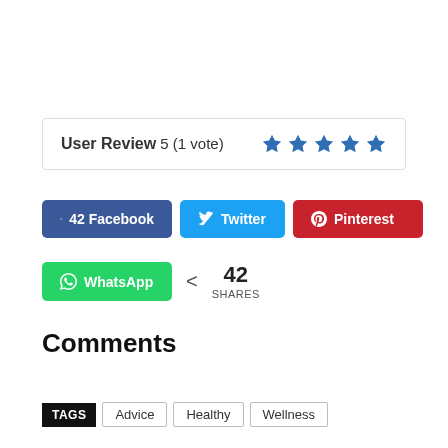User Review 5 (1 vote) ★★★★★
42 Facebook | Twitter | Pinterest
WhatsApp | 42 SHARES
Comments
TAGS  Advice  Healthy  Wellness